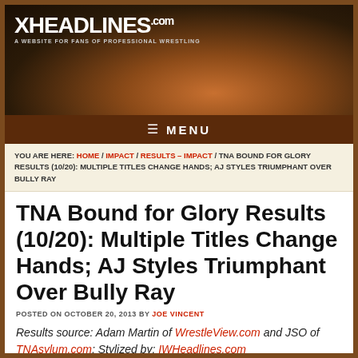[Figure (photo): XHeadlines.com website header banner showing a professional wrestler (CM Punk) in a white t-shirt with arms raised in celebration, crowd in background. Logo reads XHEADLINES.com with tagline 'A Website for Fans of Professional Wrestling'.]
≡ MENU
YOU ARE HERE: HOME / IMPACT / RESULTS - IMPACT / TNA BOUND FOR GLORY RESULTS (10/20): MULTIPLE TITLES CHANGE HANDS; AJ STYLES TRIUMPHANT OVER BULLY RAY
TNA Bound for Glory Results (10/20): Multiple Titles Change Hands; AJ Styles Triumphant Over Bully Ray
POSTED ON OCTOBER 20, 2013 BY JOE VINCENT
Results source: Adam Martin of WrestleView.com and JSO of TNAsylum.com; Stylized by: IWHeadlines.com